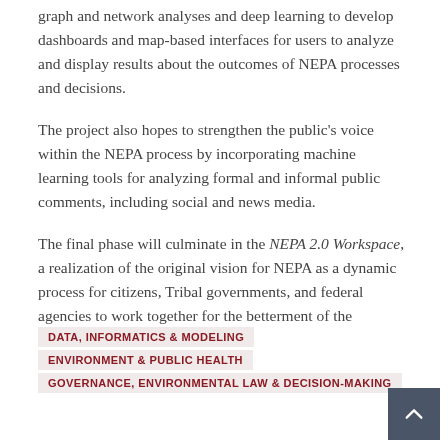graph and network analyses and deep learning to develop dashboards and map-based interfaces for users to analyze and display results about the outcomes of NEPA processes and decisions.
The project also hopes to strengthen the public's voice within the NEPA process by incorporating machine learning tools for analyzing formal and informal public comments, including social and news media.
The final phase will culminate in the NEPA 2.0 Workspace, a realization of the original vision for NEPA as a dynamic process for citizens, Tribal governments, and federal agencies to work together for the betterment of the environment.
DATA, INFORMATICS & MODELING
ENVIRONMENT & PUBLIC HEALTH
GOVERNANCE, ENVIRONMENTAL LAW & DECISION-MAKING